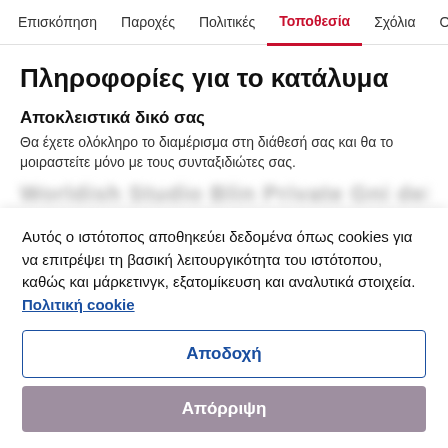Επισκόπηση  Παροχές  Πολιτικές  Τοποθεσία  Σχόλια  Οικ
Πληροφορίες για το κατάλυμα
Αποκλειστικά δικό σας
Θα έχετε ολόκληρο το διαμέρισμα στη διάθεσή σας και θα το μοιραστείτε μόνο με τους συνταξιδιώτες σας.
Αυτός ο ιστότοπος αποθηκεύει δεδομένα όπως cookies για να επιτρέψει τη βασική λειτουργικότητα του ιστότοπου, καθώς και μάρκετινγκ, εξατομίκευση και αναλυτικά στοιχεία. Πολιτική cookie
Αποδοχή
Απόρριψη